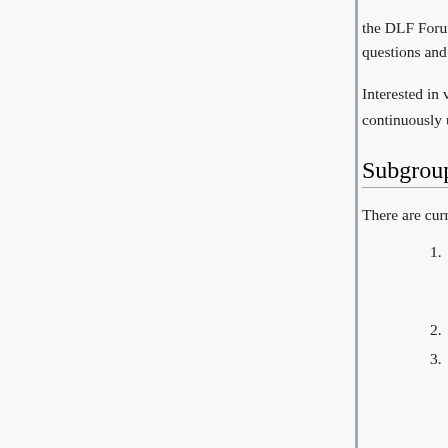the DLF Forum and DLFx events, but also to serve as a framework for community members to ask questions and offer advice.
Interested in volunteering for the standing committee? Please join our Google Group and check our continuously updated agenda document for future meeting details.
Subgroups
There are currently five subgroups within the committee:
1. Advocacy, Recruitment, + Leadership Programming Subgroup
2. Bystander Training Subgroup
3. GLAM Inclusivity Survey Subgroup